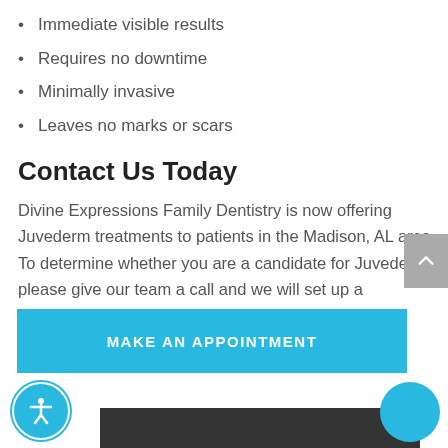Immediate visible results
Requires no downtime
Minimally invasive
Leaves no marks or scars
Contact Us Today
Divine Expressions Family Dentistry is now offering Juvederm treatments to patients in the Madison, AL area. To determine whether you are a candidate for Juvederm, please give our team a call and we will set up a consultation.
MAKE AN APPOINTMENT